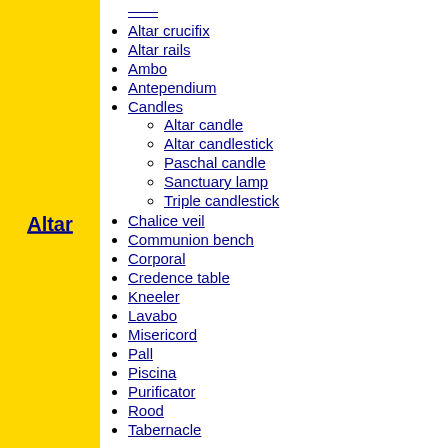Altar
Altar crucifix
Altar rails
Ambo
Antependium
Candles
Altar candle
Altar candlestick
Paschal candle
Sanctuary lamp
Triple candlestick
Chalice veil
Communion bench
Corporal
Credence table
Kneeler
Lavabo
Misericord
Pall
Piscina
Purificator
Rood
Tabernacle
Altar bell